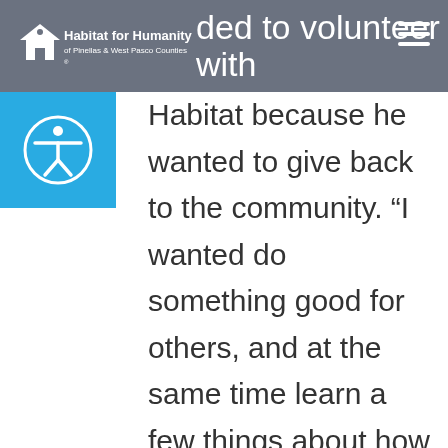Habitat for Humanity of Pinellas & West Pasco Counties — decided to volunteer with
Habitat because he wanted to give back to the community. “I wanted do something good for others, and at the same time learn a few things about how houses are built from the ground up.”
When asked what Bruce likes most about his volunteer experience with Habitat, he